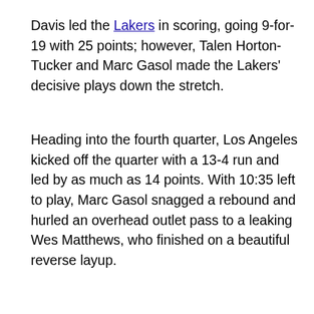Davis led the Lakers in scoring, going 9-for-19 with 25 points; however, Talen Horton-Tucker and Marc Gasol made the Lakers' decisive plays down the stretch.
Heading into the fourth quarter, Los Angeles kicked off the quarter with a 13-4 run and led by as much as 14 points. With 10:35 left to play, Marc Gasol snagged a rebound and hurled an overhead outlet pass to a leaking Wes Matthews, who finished on a beautiful reverse layup.
The Lakers led by 14 points midway through the fourth quarter before the Nuggets got within 89-87 with a late rally.
The Nuggets counterpunched Los Angeles with a run of their own, going 14-2 midway through the fourth, trimming the Laker lead down to 89-87. With 41.8 seconds remaining, Davis hit a deft two-foot floater in